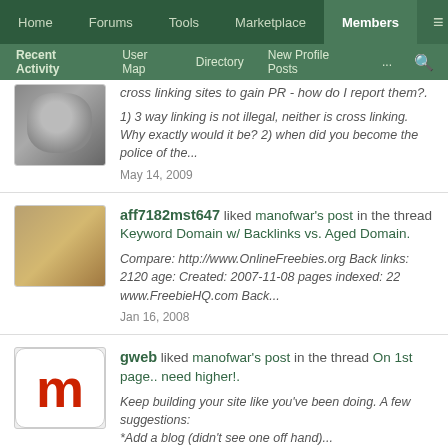Home | Forums | Tools | Marketplace | Members | ≡
Recent Activity | User Map | Directory | New Profile Posts | ...
cross linking sites to gain PR - how do I report them?.
1) 3 way linking is not illegal, neither is cross linking. Why exactly would it be? 2) when did you become the police of the...
May 14, 2009
aff7182mst647 liked manofwar's post in the thread Keyword Domain w/ Backlinks vs. Aged Domain.
Compare: http://www.OnlineFreebies.org Back links: 2120 age: Created: 2007-11-08 pages indexed: 22 www.FreebieHQ.com Back...
Jan 16, 2008
gweb liked manofwar's post in the thread On 1st page.. need higher!.
Keep building your site like you've been doing. A few suggestions: *Add a blog (didn't see one off hand)...
Jan 6, 2008
Home > Members
Contact Us   Help